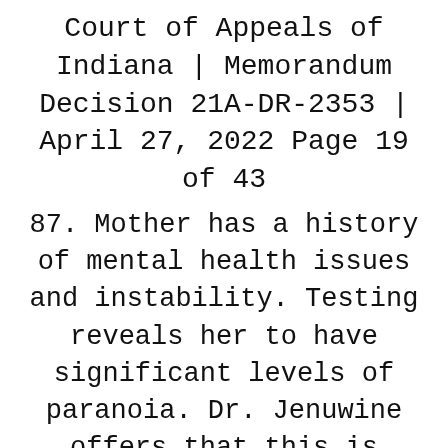Court of Appeals of Indiana | Memorandum Decision 21A-DR-2353 | April 27, 2022 Page 19 of 43
87. Mother has a history of mental health issues and instability. Testing reveals her to have significant levels of paranoia. Dr. Jenuwine offers that this is possibly